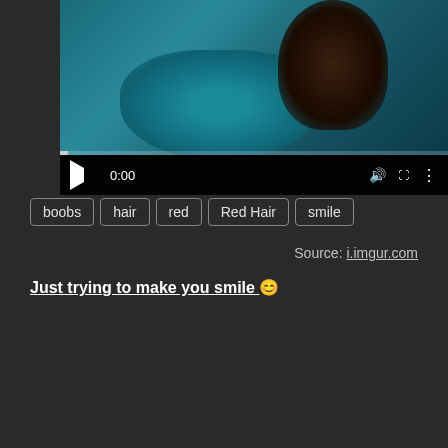[Figure (screenshot): Video player screenshot showing a person with dark hair wearing a teal top, with playback controls showing 0:00 timestamp]
boobs   hair   red   Red Hair   smile
Source: i.imgur.com
Just trying to make you smile 😊
[Figure (photo): Photo of a person taking a mirror selfie in a room with blue floral curtains and a gold ceiling light fixture]